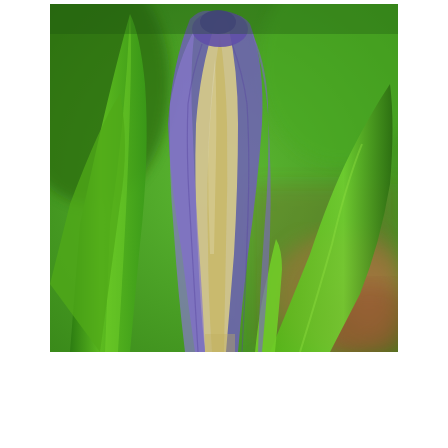[Figure (photo): Close-up photograph of an iris flower bud, tightly closed, showing purple and cream/tan petals emerging from green leaves. Background includes bright green blurred foliage and blurred brown dried leaves on the right side. The image is a shallow depth-of-field macro shot.]